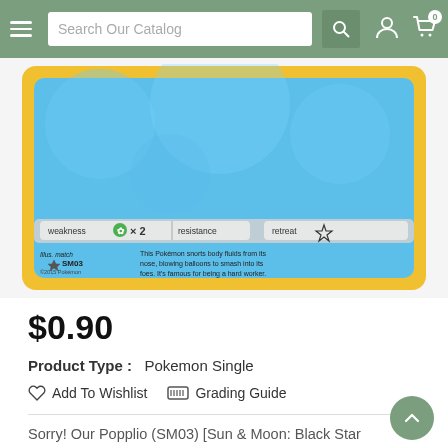Search Our Catalog
[Figure (photo): Pokemon card showing Popplio (SM03) from Sun & Moon: Black Star Promos. The card has a yellow border and blue background. Shows weakness (grass x2), resistance, and retreat stats. Flavor text: 'This Pokémon snorts body fluids from its nose, blowing balloons to smash into its foes. It's famous for being a hard worker.' Illustrated by match. ©2015 Pokemon]
$0.90
Product Type :   Pokemon Single
Add To Wishlist     Grading Guide
Sorry! Our Popplio (SM03) [Sun & Moon: Black Star Promos] Is Currently   Sold Out.